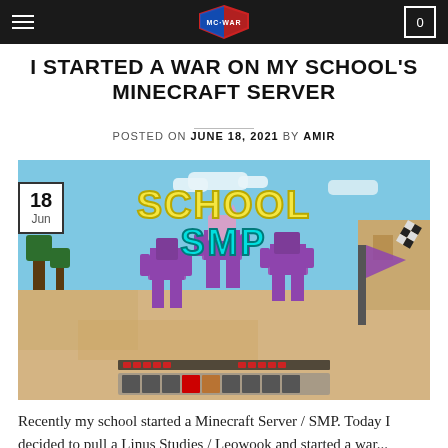MC-WAR navigation bar with hamburger menu, logo, and cart icon
I Started a WAR on my SCHOOL's MINECRAFT SERVER
POSTED ON JUNE 18, 2021 BY AMIR
[Figure (screenshot): Minecraft School SMP screenshot showing three players in purple armor in a desert biome, with 'SCHOOL SMP' text overlay. A date badge shows '18 Jun'.]
Recently my school started a Minecraft Server / SMP. Today I decided to pull a Linus Studies / Leowook and started a war...